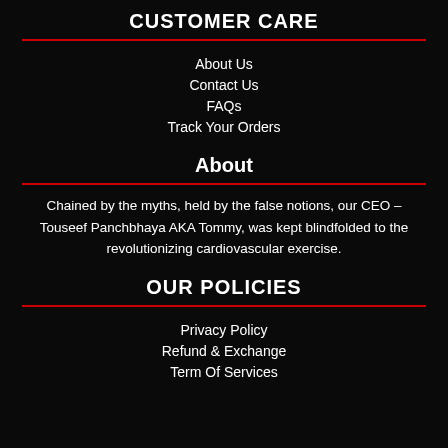CUSTOMER CARE
About Us
Contact Us
FAQs
Track Your Orders
About
Chained by the myths, held by the false notions, our CEO – Touseef Panchbhaya AKA Tommy, was kept blindfolded to the revolutionizing cardiovascular exercise.
OUR POLICIES
Privacy Policy
Refund & Exchange
Term Of Services